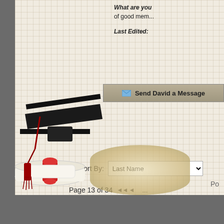What are you... of good mem...
Last Edited:
Send David a Message
Sort By: Last Name
Page 13 of 34 ◄◄ ◄ ...
[Figure (illustration): Graduation cap (mortarboard) in black with red tassel, and a rolled diploma scroll with red ribbon, resting on a decorative parchment-style background]
Po